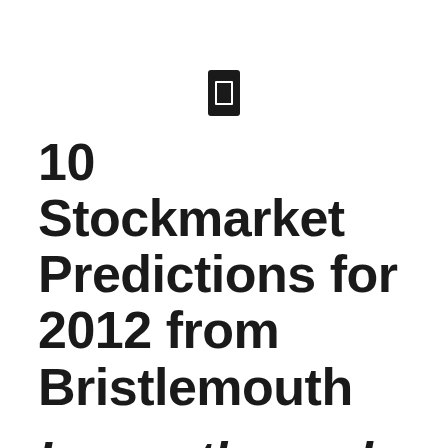[Figure (other): Small black rounded rectangle icon resembling a mobile/card device with a white inner rectangle outline]
10 Stockmarket Predictions for 2012 from Bristlemouth
I recently read a fabulous blog post by the Chief Investment